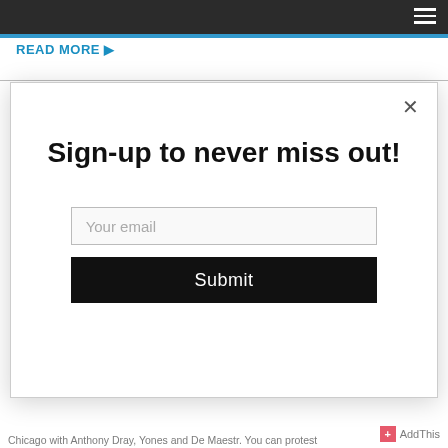READ MORE ▶
Go Radio – BUS INVADERS Ep. 335
Sign-up to never miss out!
Your email
Submit
AddThis
Chicago with Anthony Dray, Yones and De Maestr. You can protest